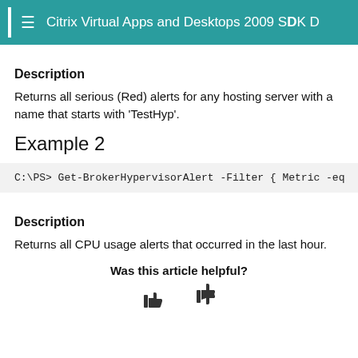Citrix Virtual Apps and Desktops 2009 SDK D
Description
Returns all serious (Red) alerts for any hosting server with a name that starts with 'TestHyp'.
Example 2
C:\PS> Get-BrokerHypervisorAlert -Filter { Metric -eq
Description
Returns all CPU usage alerts that occurred in the last hour.
Was this article helpful?